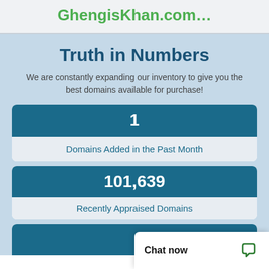Find more domains similar to GhengisKhan.com...
Truth in Numbers
We are constantly expanding our inventory to give you the best domains available for purchase!
1
Domains Added in the Past Month
101,639
Recently Appraised Domains
Chat now